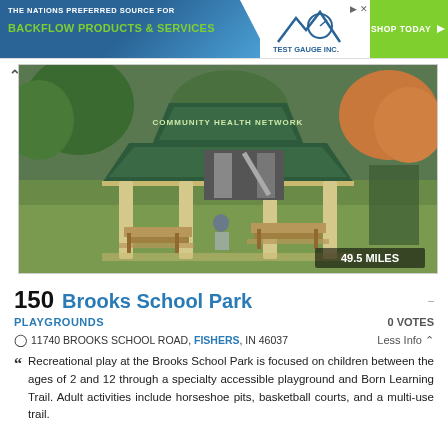[Figure (screenshot): Advertisement banner: 'THE NATIONS PREFERRED SOURCE FOR BACKFLOW PRODUCTS & SERVICES' with Test Gauge Inc. logo and SHOP TODAY button]
[Figure (photo): Outdoor park photo showing a green-roofed gazebo pavilion with picnic tables, playground equipment in the background, and autumn trees. Badge reads '49.5 MILES'.]
150 Brooks School Park
PLAYGROUNDS
0 VOTES
11740 BROOKS SCHOOL ROAD, FISHERS, IN 46037
Less Info
Recreational play at the Brooks School Park is focused on children between the ages of 2 and 12 through a specialty accessible playground and Born Learning Trail. Adult activities include horseshoe pits, basketball courts, and a multi-use trail.